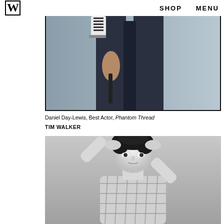W  SHOP  MENU
[Figure (photo): Daniel Day-Lewis photographed from torso down, wearing striped shirt and dark jeans, holding something in his right hand, against a light blue-grey background]
Daniel Day-Lewis, Best Actor, Phantom Thread
TIM WALKER
[Figure (photo): Black and white portrait of a young man with dark curly hair, arms raised with hands behind head, wearing a plaid short-sleeve shirt, against a grey background]